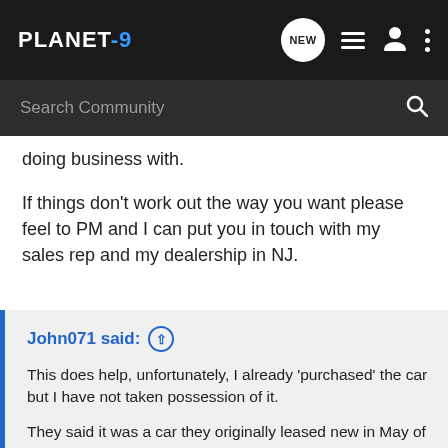PLANET-9 [navigation bar with NEW, list, user, dots icons]
Search Community
doing business with.
If things don't work out the way you want please feel to PM and I can put you in touch with my sales rep and my dealership in NJ.
John071 said: ↑
This does help, unfortunately, I already 'purchased' the car but I have not taken possession of it.
They said it was a car they originally leased new in May of 2015 and came back off lease. When I bought it, it was only dealer certified and as part of the sales agreement they were to CPO the car and clean up a few things, which is why I don't have it yet.